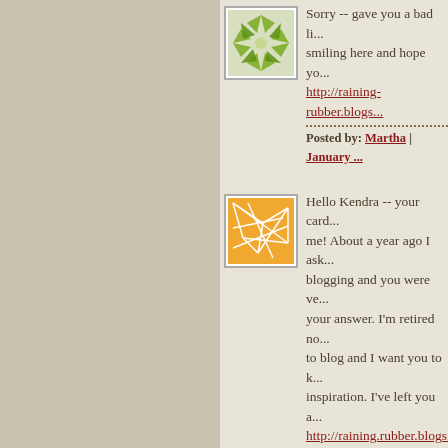[Figure (illustration): Green snowflake/flower avatar icon on light background]
Sorry -- gave you a bad li... smiling here and hope yo... http://raining-rubber.blogs...
Posted by: Martha | January ...
[Figure (illustration): Orange geometric pattern avatar icon]
Hello Kendra -- your card... me! About a year ago I ask... blogging and you were ve... your answer. I'm retired n... to blog and I want you to ... inspiration. I've left you a... http://raining.rubber.blogs...
Posted by: Martha | January ...
[Figure (illustration): Green sunburst/radial circle avatar icon]
Hope all is well. I am sure... Your cards are all amazing...
Michelle